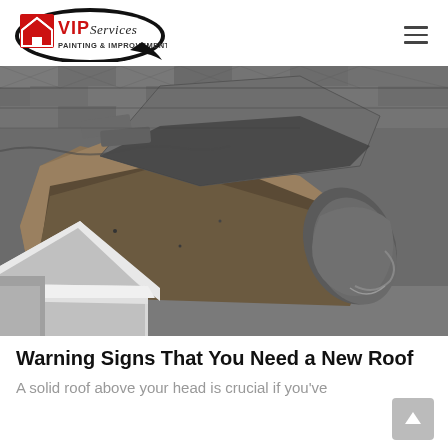[Figure (logo): VIP Services Painting & Improvements logo — house icon with red background, 'VIP' in red bold text, 'Services' in script, 'Painting & Improvements' subtitle, wrapped in a black oval/ellipse shape]
[Figure (photo): Close-up photo of a damaged residential roof showing curled, lifted, and missing asphalt shingles near a white gutter/fascia edge, with grey and brown shingles peeling away from the roof deck]
Warning Signs That You Need a New Roof
A solid roof above your head is crucial if you've